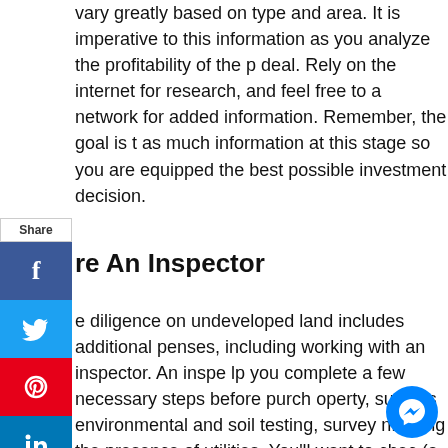vary greatly based on type and area. It is imperative to this information as you analyze the profitability of the deal. Rely on the internet for research, and feel free to a network for added information. Remember, the goal is to as much information at this stage so you are equipped the best possible investment decision.
re An Inspector
e diligence on undeveloped land includes additional penses, including working with an inspector. An inspe lp you complete a few necessary steps before purch operty, such as environmental and soil testing, survey nfirming the presence of utilities. You'll want to chec (a map drawn to scale of the property), confirm any lier zoning restrictions and more before committing to the of a property. In many cases, sellers will actuall p in with these costs.